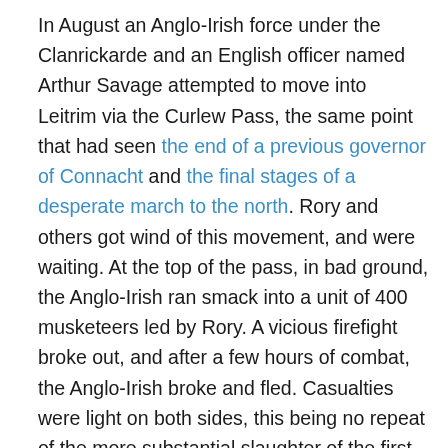In August an Anglo-Irish force under the Clanrickarde and an English officer named Arthur Savage attempted to move into Leitrim via the Curlew Pass, the same point that had seen the end of a previous governor of Connacht and the final stages of a desperate march to the north. Rory and others got wind of this movement, and were waiting. At the top of the pass, in bad ground, the Anglo-Irish ran smack into a unit of 400 musketeers led by Rory. A vicious firefight broke out, and after a few hours of combat, the Anglo-Irish broke and fled. Casualties were light on both sides, this being no repeat of the more substantial slaughter of the first battle fought there. The Irish pursued, inflicting some further casualties. While it was only a minor success in the grand scheme of things they had at least beaten off another English assault on